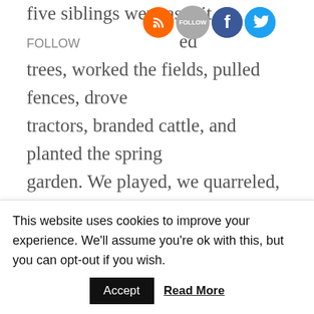[Figure (other): Social media sharing bar with RSS, Follow, Facebook, and Twitter icons]
five siblings were as thi...ed trees, worked the fields, pulled fences, drove tractors, branded cattle, and planted the spring garden. We played, we quarreled, and we dug in the dirt together. By the time May arrived, we ached to get our hands grubby in the vegetable patch. Waiting for the vegetables to sprout and be harvested taught us patience and responsibility. Of course, Mom’s beautiful flower gardens would already be abloom by this time of year getting us into constant trouble because we were forever picking bouquets
This website uses cookies to improve your experience. We'll assume you're ok with this, but you can opt-out if you wish.
Accept  Read More